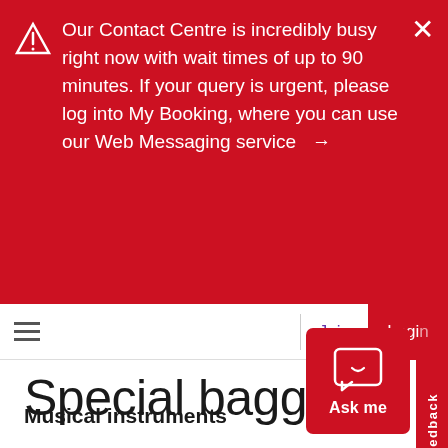Our Contact Centre is incredibly busy right now with wait times of up to 90 minutes. If your query is urgent, please log into My Booking, where you can use our Web Messaging service →
[Figure (screenshot): Navigation bar with hamburger menu icon, Join link in purple, and Login button in red]
Special baggage
[Figure (other): Red Ask me chat button with speech bubble icon]
Musical instruments